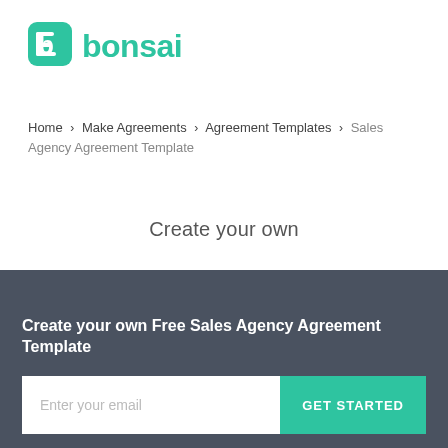[Figure (logo): Bonsai logo: green rounded square icon with stylized 'b' and the word 'bonsai' in green bold text]
Home > Make Agreements > Agreement Templates > Sales Agency Agreement Template
Create your own
Free Sales A…
Create your own Free Sales Agency Agreement Template
Enter your email
GET STARTED